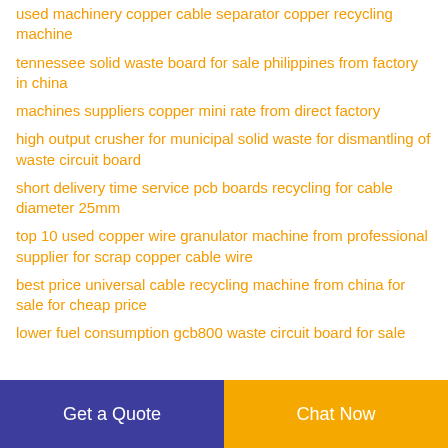used machinery copper cable separator copper recycling machine
tennessee solid waste board for sale philippines from factory in china
machines suppliers copper mini rate from direct factory
high output crusher for municipal solid waste for dismantling of waste circuit board
short delivery time service pcb boards recycling for cable diameter 25mm
top 10 used copper wire granulator machine from professional supplier for scrap copper cable wire
best price universal cable recycling machine from china for sale for cheap price
lower fuel consumption gcb800 waste circuit board for sale
Get a Quote
Chat Now